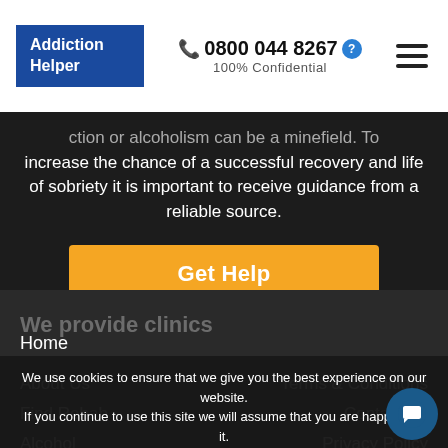Addiction Helper | 0800 044 8267 | 100% Confidential
...ction or alcoholism can be a minefield. To increase the chance of a successful recovery and life of sobriety it is important to receive guidance from a reliable source.
Get Help
We use cookies to ensure that we give you the best experience on our website. If you continue to use this site we will assume that you are happy with it.
OK | READ MORE
Home
About Us
Terms & Conditions
Find Rehab
Contact Us
Alcohol
Privacy Policy